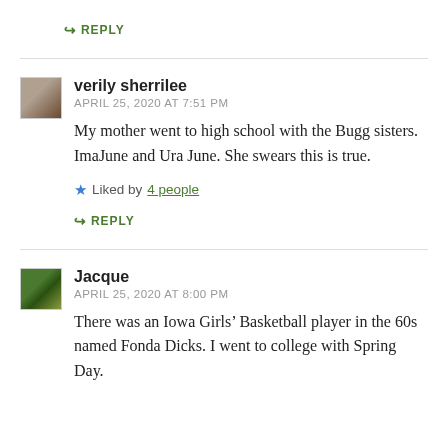↪ REPLY
verily sherrilee
APRIL 25, 2020 AT 7:51 PM
My mother went to high school with the Bugg sisters. ImaJune and Ura June. She swears this is true.
★ Liked by 4 people
↪ REPLY
Jacque
APRIL 25, 2020 AT 8:00 PM
There was an Iowa Girls' Basketball player in the 60s named Fonda Dicks. I went to college with Spring Day.